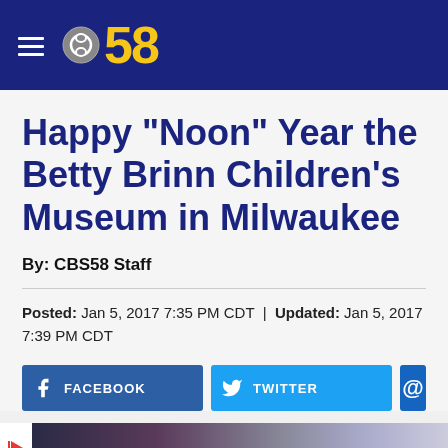CBS 58
Happy "Noon" Year the Betty Brinn Children's Museum in Milwaukee
By: CBS58 Staff
Posted: Jan 5, 2017 7:35 PM CDT | Updated: Jan 5, 2017 7:39 PM CDT
[Figure (screenshot): Social share buttons: Facebook, Twitter, Email(@)]
[Figure (photo): Thumbnail strip of article images at bottom]